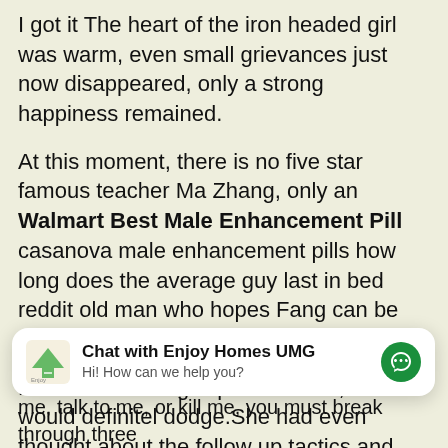I got it The heart of the iron headed girl was warm, even small grievances just now disappeared, only a strong happiness remained.
At this moment, there is no five star famous teacher Ma Zhang, only an Walmart Best Male Enhancement Pills casanova male enhancement pills how long does the average guy last in bed reddit old man who hopes Fang can be happy.
From Bai Shuang is point of view, Sun Mo would definitely dodge.She had even thought about the follow up tactics and tactics to lure the enemy, but Sun Mo directly took it making her thinking all useless and wasting her brain power in vain.
[Figure (screenshot): Chat widget: Chat with Enjoy Homes UMG. Hi! How can we help you? With messenger icon.]
me, talk to me, or kill me, you must break through three